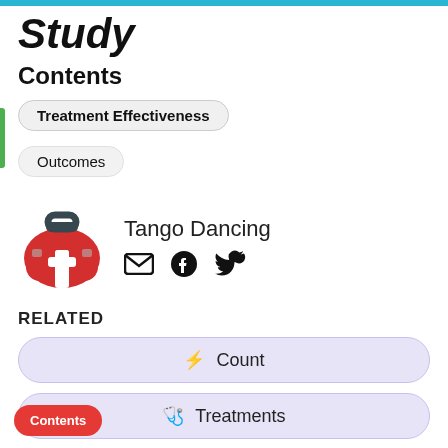Study
Contents
Treatment Effectiveness
Outcomes
[Figure (illustration): Medical kit / first aid bag icon in red with white cross and dark blue handle]
Tango Dancing
Email, Facebook, Twitter social icons
RELATED
⚡ Count
🩺 Treatments
🌿 Effects
Contents